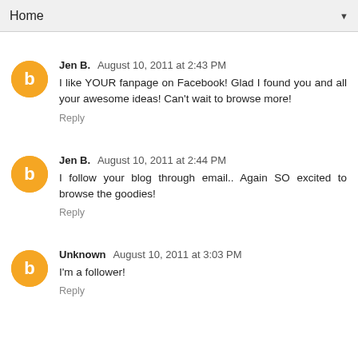Home
Jen B.  August 10, 2011 at 2:43 PM
I like YOUR fanpage on Facebook! Glad I found you and all your awesome ideas! Can't wait to browse more!
Reply
Jen B.  August 10, 2011 at 2:44 PM
I follow your blog through email.. Again SO excited to browse the goodies!
Reply
Unknown  August 10, 2011 at 3:03 PM
I'm a follower!
Reply